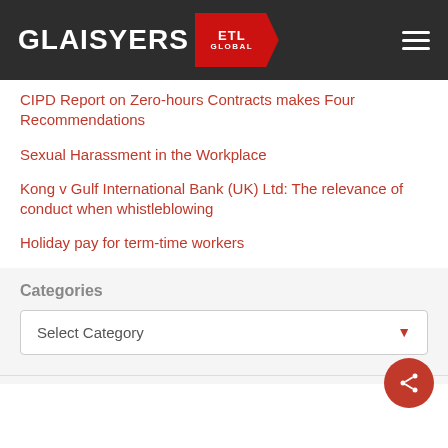GLAISYERS ETL GLOBAL
CIPD Report on Zero-hours Contracts makes Four Recommendations
Sexual Harassment in the Workplace
Kong v Gulf International Bank (UK) Ltd: The relevance of conduct when whistleblowing
Holiday pay for term-time workers
Categories
Select Category